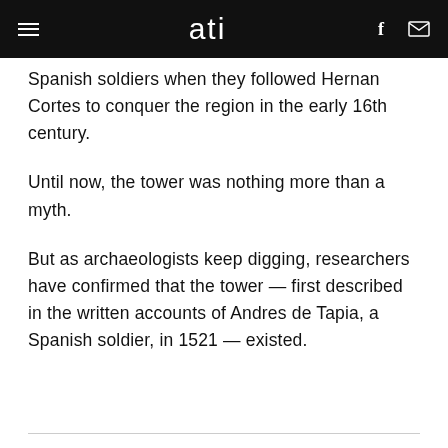ati
Spanish soldiers when they followed Hernan Cortes to conquer the region in the early 16th century.
Until now, the tower was nothing more than a myth.
But as archaeologists keep digging, researchers have confirmed that the tower — first described in the written accounts of Andres de Tapia, a Spanish soldier, in 1521 — existed.